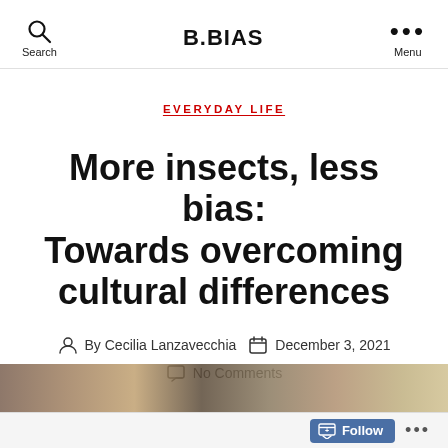B.BIAS
EVERYDAY LIFE
More insects, less bias: Towards overcoming cultural differences
By Cecilia Lanzavecchia   December 3, 2021
No Comments
[Figure (photo): Partial photo strip at the bottom of the page showing a nature/insect related image in muted brown and gold tones]